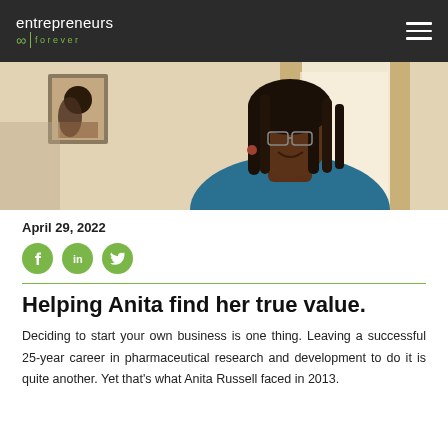entrepreneurs forever
[Figure (photo): A woman with long dreadlocks and glasses, smiling, photographed indoors in a bright room with a painting and curtains visible in the background.]
April 29, 2022
[Figure (infographic): Three green circular social media icons: Facebook (f), LinkedIn (in), and Twitter (bird icon).]
Helping Anita find her true value.
Deciding to start your own business is one thing. Leaving a successful 25-year career in pharmaceutical research and development to do it is quite another. Yet that’s what Anita Russell faced in 2013.